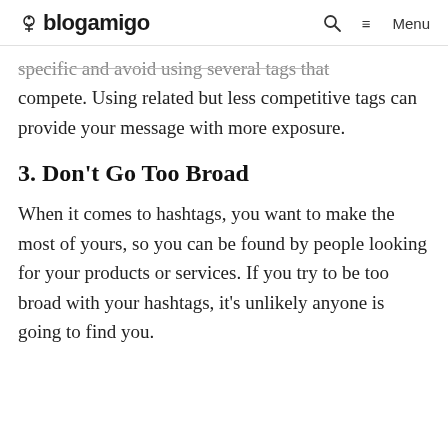blogamigo  🔍  ≡ Menu
specific and avoid using several tags that compete. Using related but less competitive tags can provide your message with more exposure.
3. Don't Go Too Broad
When it comes to hashtags, you want to make the most of yours, so you can be found by people looking for your products or services. If you try to be too broad with your hashtags, it's unlikely anyone is going to find you.